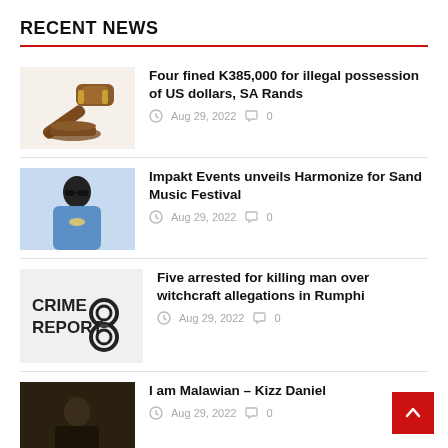RECENT NEWS
Four fined K385,000 for illegal possession of US dollars, SA Rands
Aug 29, 2022  0
Impakt Events unveils Harmonize for Sand Music Festival
Aug 29, 2022  0
Five arrested for killing man over witchcraft allegations in Rumphi
Aug 29, 2022  0
I am Malawian – Kizz Daniel
Aug 29, 2022  0